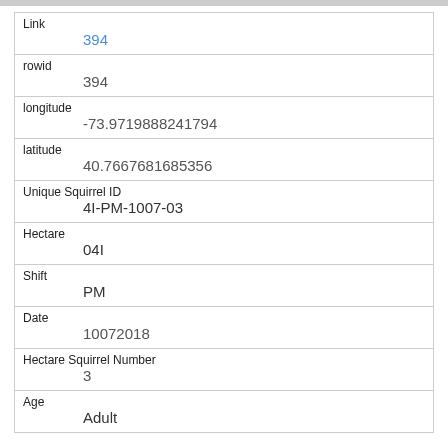| Field | Value |
| --- | --- |
| Link | 394 |
| rowid | 394 |
| longitude | -73.9719888241794 |
| latitude | 40.7667681685356 |
| Unique Squirrel ID | 4I-PM-1007-03 |
| Hectare | 04I |
| Shift | PM |
| Date | 10072018 |
| Hectare Squirrel Number | 3 |
| Age | Adult |